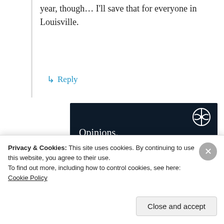year, though… I'll save that for everyone in Louisville.
↵ Reply
[Figure (advertisement): WordPress advertisement banner with dark navy background, WordPress logo top right, text 'Opinions. We all have them!', pink 'Start a survey' button, and Crowdsignal logo bottom right.]
Privacy & Cookies: This site uses cookies. By continuing to use this website, you agree to their use.
To find out more, including how to control cookies, see here: Cookie Policy
Close and accept